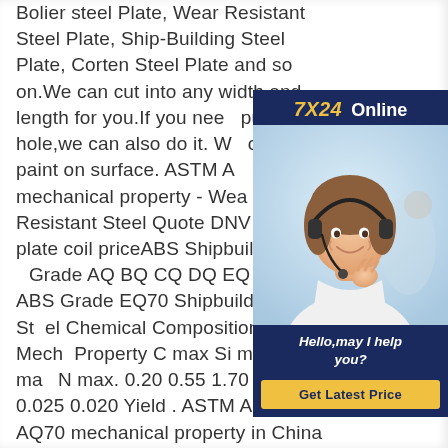Bolier steel Plate, Wear Resistant Steel Plate, Ship-Building Steel Plate, Corten Steel Plate and so on.We can cut into any width and length for you.If you need punch a hole,we can also do it. We oiled or paint on surface. ASTM A EQ63 mechanical property - Wear Resistant Steel Quote DNV EQ63 plate coil priceABS Shipbuilding Grade AQ BQ CQ DQ EQ FQ 47 ABS Grade EQ70 Shipbuilding Steel Chemical Composition and Mechanical Property C max Si max Mn P max N max. 0.20 0.55 1.70 0.025 0.025 0.020 Yield . ASTM A131 AQ70 mechanical property in China export ASTM A131 EQ63 mechanical propertyDescription astm a131 aq70 mechanical
[Figure (other): Online chat widget with '7X24 Online' header in navy blue, a photo of a woman wearing a headset smiling, the text 'Hello,may I help you?' in white italic, and a yellow 'Get Latest Price' button.]